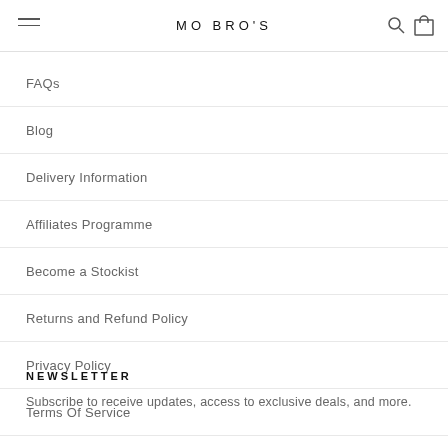MO BRO'S
FAQs
Blog
Delivery Information
Affiliates Programme
Become a Stockist
Returns and Refund Policy
Privacy Policy
Terms Of Service
NEWSLETTER
Subscribe to receive updates, access to exclusive deals, and more.